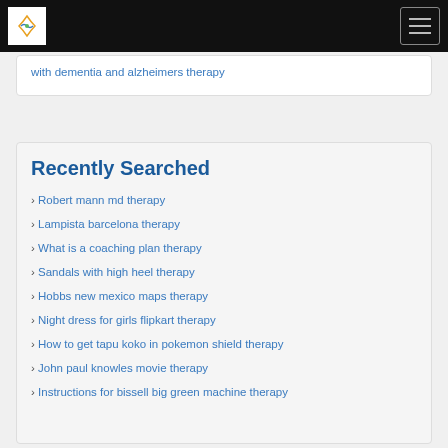(navigation bar with logo and hamburger menu)
with dementia and alzheimers therapy
Recently Searched
Robert mann md therapy
Lampista barcelona therapy
What is a coaching plan therapy
Sandals with high heel therapy
Hobbs new mexico maps therapy
Night dress for girls flipkart therapy
How to get tapu koko in pokemon shield therapy
John paul knowles movie therapy
Instructions for bissell big green machine therapy